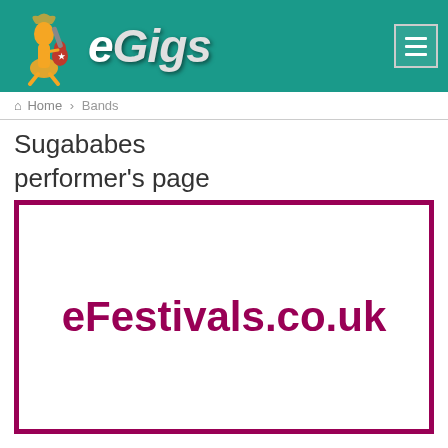eGigs
Home > Bands
Sugababes performer's page
[Figure (other): Advertisement image with text eFestivals.co.uk on white background with dark pink/maroon border]